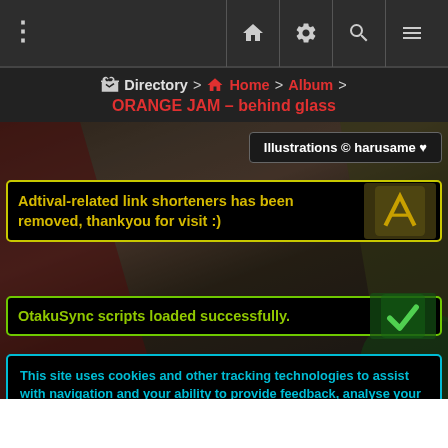Navigation bar with menu dots, home, settings, search, and hamburger icons
Directory > Home > Album > ORANGE JAM – behind glass
[Figure (screenshot): Dark blurred anime illustration background with overlaid notification boxes]
Illustrations © harusame ♥
Adtival-related link shorteners has been removed, thankyou for visit :)
OtakuSync scripts loaded successfully.
This site uses cookies and other tracking technologies to assist with navigation and your ability to provide feedback, analyse your use of our products and services, assist with our promotional and marketing efforts, and provide content from third parties. By accessing any element of the Site you consent to the use of cookies. To decline them or learn more, visit our Cookie Policy page.